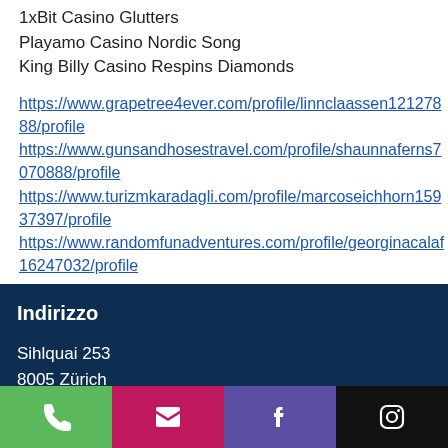1xBit Casino Glutters
Playamo Casino Nordic Song
King Billy Casino Respins Diamonds
https://www.grapetree4ever.com/profile/linnclaassen12127888/profile
https://www.gunsandhosestravel.com/profile/shaunnaferns7070888/profile
https://www.turizmkaradagli.com/profile/marcoseichhorn15937397/profile
https://www.randomfunadventures.com/profile/georginacalaf16247032/profile
Indirizzo
Sihlquai 253
8005 Zürich